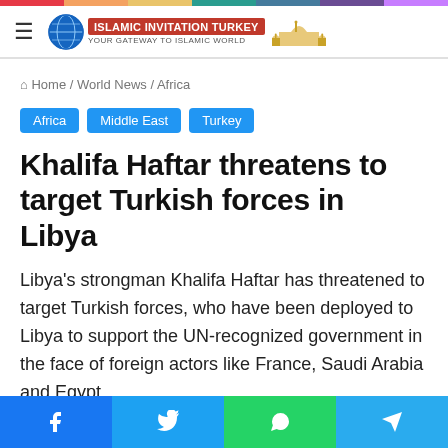Islamic Invitation Turkey
Home / World News / Africa
Africa
Middle East
Turkey
Khalifa Haftar threatens to target Turkish forces in Libya
Libya's strongman Khalifa Haftar has threatened to target Turkish forces, who have been deployed to Libya to support the UN-recognized government in the face of foreign actors like France, Saudi Arabia and Egypt.
Facebook Twitter WhatsApp Telegram